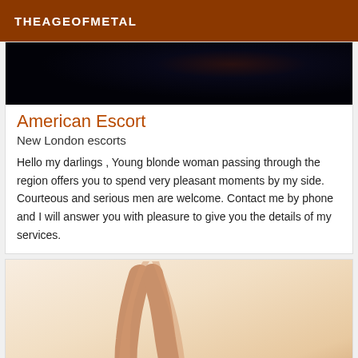THEAGEOFMETAL
[Figure (photo): Dark background image, partially visible, showing dark tones suggesting hair or fabric]
American Escort
New London escorts
Hello my darlings , Young blonde woman passing through the region offers you to spend very pleasant moments by my side. Courteous and serious men are welcome. Contact me by phone and I will answer you with pleasure to give you the details of my services.
[Figure (photo): Photo of woman's legs wearing black high heels against a warm beige/peach background]